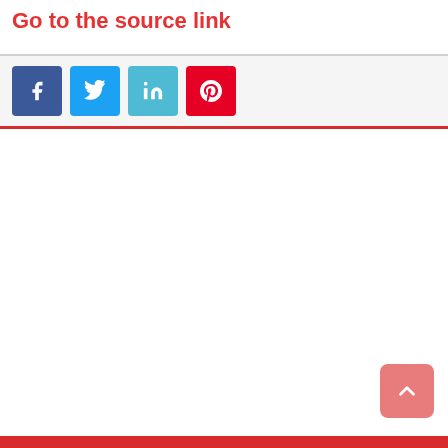Go to the source link
[Figure (screenshot): Social share buttons: Facebook (blue), Twitter (light blue), LinkedIn (teal), Pinterest (red)]
[Figure (other): Back to top button - salmon/pink rounded square with upward chevron arrow]